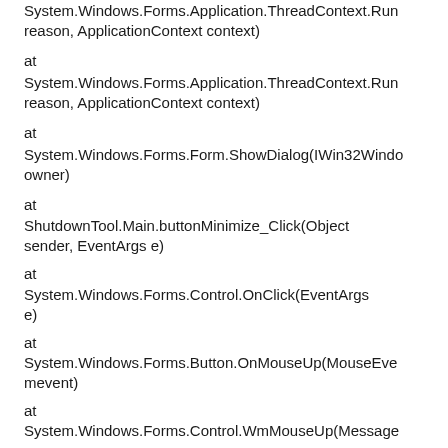System.Windows.Forms.Application.ThreadContext.Run(reason, ApplicationContext context)
at
System.Windows.Forms.Application.ThreadContext.Run(reason, ApplicationContext context)
at
System.Windows.Forms.Form.ShowDialog(IWin32Window owner)
at
ShutdownTool.Main.buttonMinimize_Click(Object sender, EventArgs e)
at
System.Windows.Forms.Control.OnClick(EventArgs e)
at
System.Windows.Forms.Button.OnMouseUp(MouseEventArgs mevent)
at
System.Windows.Forms.Control.WmMouseUp(Message& m, MouseButtons button, Int32 clicks)
at
System.Windows.Forms.Control.WndProc(Message& m)
at